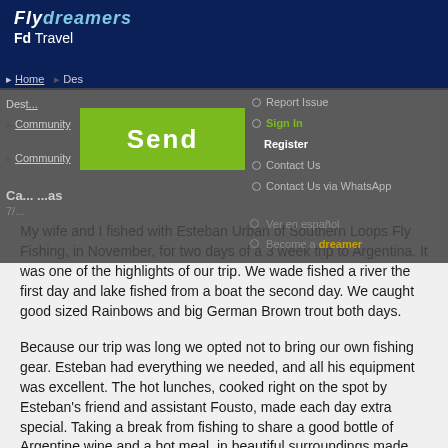Flydreamers Fd Travel
Home | Destinations | Community
[Figure (screenshot): Dropdown navigation overlay showing Send button, Report Issue, Contact Us, Contact Us via WhatsApp, Sign In, Register, Ver en español, Become a dreamer menu items]
My wife and I fished with Esteban Urban of Southern Loops Fly Fishing, in November, for two days of a 3 week trip to Argentina. It was one of the highlights of our trip. We wade fished a river the first day and lake fished from a boat the second day. We caught good sized Rainbows and big German Brown trout both days.
Because our trip was long we opted not to bring our own fishing gear. Esteban had everything we needed, and all his equipment was excellent. The hot lunches, cooked right on the spot by Esteban's friend and assistant Fousto, made each day extra special. Taking a break from fishing to share a good bottle of Argentine wine and a hot meal, in beautiful surroundings made each day extra special.
Esteban is a great fishing guide and a wonderful host. There are a lot of rivers and lakes in that area, and his local knowledge made a